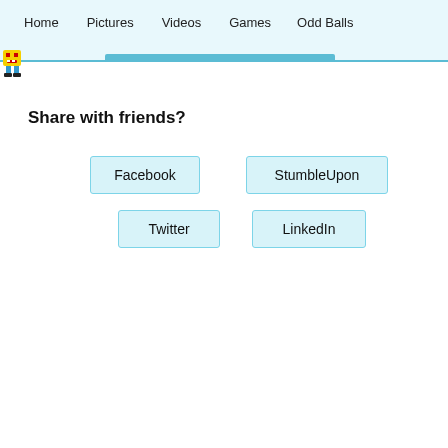Home  Pictures  Videos  Games  Odd Balls
[Figure (logo): Pixel art yellow smiley character mascot logo]
Share with friends?
Facebook
StumbleUpon
Twitter
LinkedIn